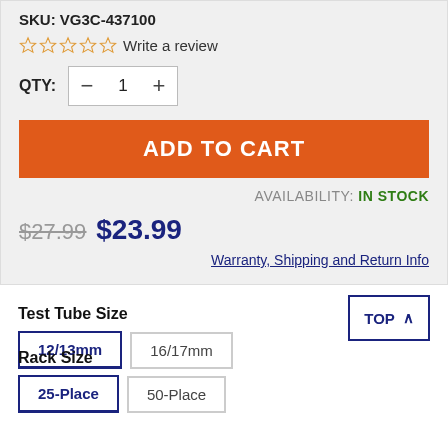SKU: VG3C-437100
☆☆☆☆☆ Write a review
QTY: − 1 +
ADD TO CART
AVAILABILITY: IN STOCK
$27.99 $23.99
Warranty, Shipping and Return Info
Test Tube Size
12/13mm
16/17mm
TOP ^
Rack Size
25-Place
50-Place